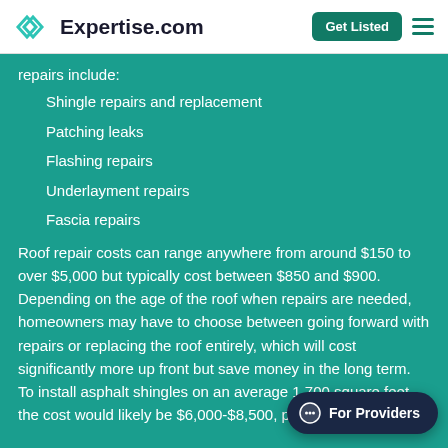Expertise.com — Get Listed
repairs include:
Shingle repairs and replacement
Patching leaks
Flashing repairs
Underlayment repairs
Fascia repairs
Roof repair costs can range anywhere from around $150 to over $5,000 but typically cost between $850 and $900. Depending on the age of the roof when repairs are needed, homeowners may have to choose between going forward with repairs or replacing the roof entirely, which will cost significantly more up front but save money in the long term. To install asphalt shingles on an average 1,700 square feet, the cost would likely be $6,000-$8,500, plus